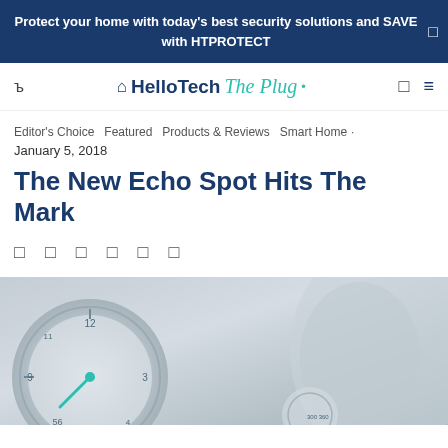Protect your home with today's best security solutions and SAVE with HTPROTECT
[Figure (logo): HelloTech The Plug logo with house icon]
Editor's Choice  Featured  Products & Reviews  Smart Home
January 5, 2018
The New Echo Spot Hits The Mark
[Figure (infographic): Social share icons row: Facebook, Twitter, Pinterest, LinkedIn, Email, Print]
[Figure (photo): Close-up photo of an Amazon Echo Spot device showing a circular clock/dashboard display with teal accents, partially blurred background]